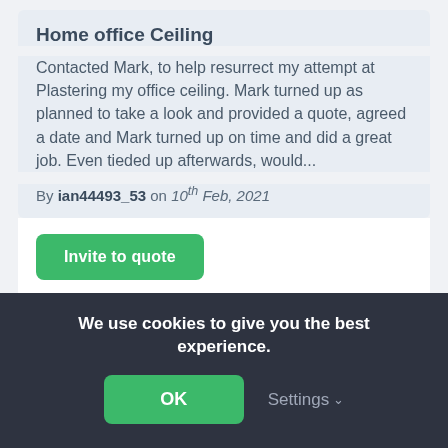Home office Ceiling
Contacted Mark, to help resurrect my attempt at Plastering my office ceiling. Mark turned up as planned to take a look and provided a quote, agreed a date and Mark turned up on time and did a great job. Even tieded up afterwards, would...
By ian44493_53 on 10th Feb, 2021
Invite to quote
MAttD Handyman
30 Feedback reviews, 100% positive
We use cookies to give you the best experience.
OK
Settings